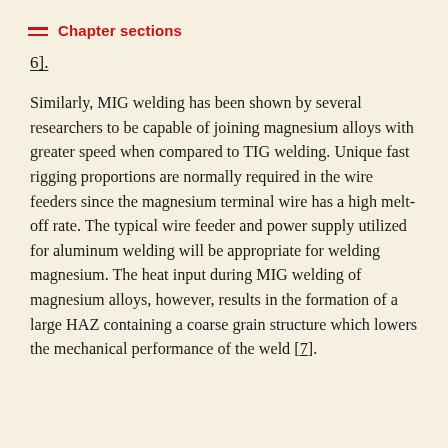Chapter sections
6].
Similarly, MIG welding has been shown by several researchers to be capable of joining magnesium alloys with greater speed when compared to TIG welding. Unique fast rigging proportions are normally required in the wire feeders since the magnesium terminal wire has a high melt-off rate. The typical wire feeder and power supply utilized for aluminum welding will be appropriate for welding magnesium. The heat input during MIG welding of magnesium alloys, however, results in the formation of a large HAZ containing a coarse grain structure which lowers the mechanical performance of the weld [7].